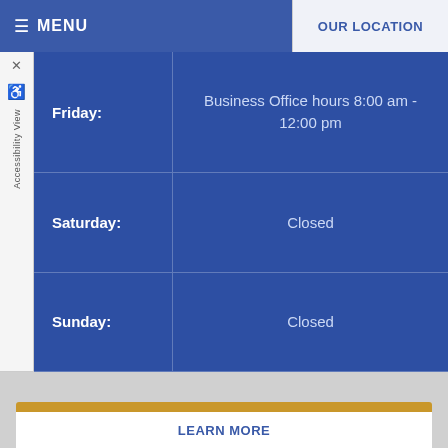≡ MENU | OUR LOCATION
| Day | Hours |
| --- | --- |
| Friday: | Business Office hours 8:00 am - 12:00 pm |
| Saturday: | Closed |
| Sunday: | Closed |
Southern Hospitality
Where Southern charm and warmth meets high tech dentistry
LEARN MORE